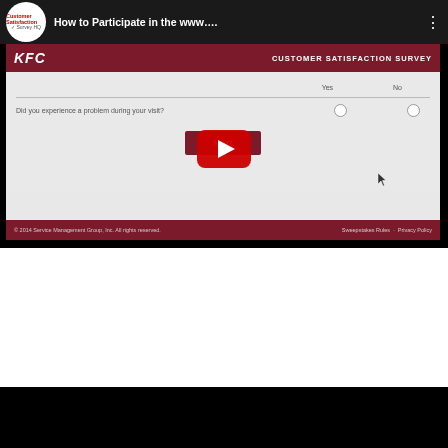[Figure (screenshot): YouTube video player showing a KFC Customer Satisfaction Survey tutorial video titled 'How to Participate in the www....' with a play button overlay. The video thumbnail shows the KFC survey website with a question 'Did you experience a problem during your visit?' with Yes/No radio buttons and a Next button.]
© 2014 Service Management Group, Inc. All rights reserved.    Sweepstakes Rules · Privacy Policy